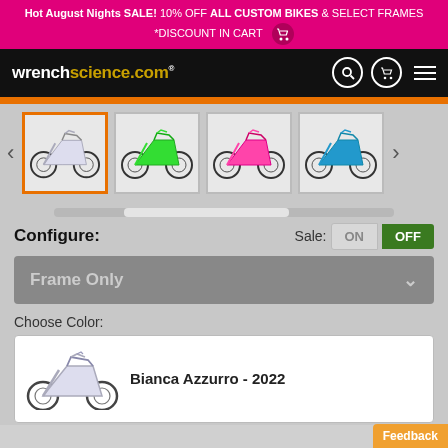Hot August Nights SALE! 10% OFF ALL CUSTOM BIKES & SELECT FRAMES *DISCOUNT IN CART
[Figure (screenshot): WrenchScience.com website navigation bar with logo, search, cart, and menu icons]
[Figure (photo): Thumbnail gallery of 4 bicycle color options: white/blue, green, pink, blue/black]
Configure:
Sale: ON OFF
Frame Only
Choose Color:
Bianca Azzurro - 2022